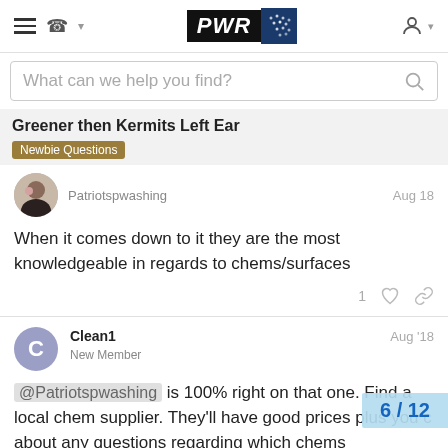PWR [logo header with hamburger menu, phone icon, user icon]
What can we help you find?
Greener then Kermits Left Ear
Newbie Questions
Patriotspwashing   Aug 18
When it comes down to it they are the most knowledgeable in regards to chems/surfaces
1 [like] [link]
Clean1   New Member   Aug '18
@Patriotspwashing is 100% right on that one. Find a local chem supplier. They'll have good prices plus you c about any questions regarding which chems
6 / 12